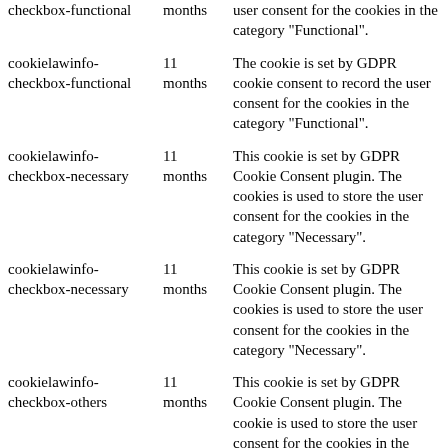| Cookie | Duration | Description |
| --- | --- | --- |
| checkbox-functional | months | user consent for the cookies in the category "Functional". |
| cookielawinfo-checkbox-functional | 11 months | The cookie is set by GDPR cookie consent to record the user consent for the cookies in the category "Functional". |
| cookielawinfo-checkbox-necessary | 11 months | This cookie is set by GDPR Cookie Consent plugin. The cookies is used to store the user consent for the cookies in the category "Necessary". |
| cookielawinfo-checkbox-necessary | 11 months | This cookie is set by GDPR Cookie Consent plugin. The cookies is used to store the user consent for the cookies in the category "Necessary". |
| cookielawinfo-checkbox-others | 11 months | This cookie is set by GDPR Cookie Consent plugin. The cookie is used to store the user consent for the cookies in the category "Other. |
| cookielawinfo-checkbox-others | 11 months | This cookie is set by GDPR Cookie Consent plugin. The cookie is used to store the user |